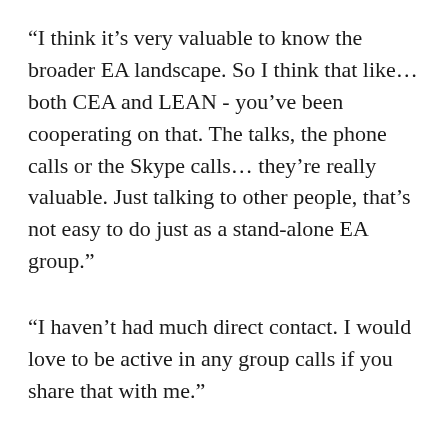“I think it’s very valuable to know the broader EA landscape. So I think that like… both CEA and LEAN - you’ve been cooperating on that. The talks, the phone calls or the Skype calls… they’re really valuable. Just talking to other people, that’s not easy to do just as a stand-alone EA group.”
“I haven’t had much direct contact. I would love to be active in any group calls if you share that with me.”
The reasons for valuing these calls were similar to those for valuing personal connection with the wider EA community. Although feedback for the calls was mostly positive, two organisers mentioned the fact that group